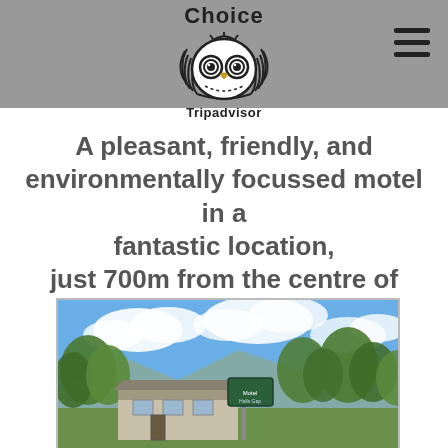[Figure (logo): Tripadvisor Travelers' Choice logo with owl icon and 'Choice' text above, 'Tripadvisor' text below, on a grey header bar with hamburger menu icon on the right]
A pleasant, friendly, and environmentally focussed motel in a fantastic location, just 700m from the centre of beautiful Halls Gap
[Figure (photo): Exterior photo of a motel building with green trees, blue sky with white clouds, and mountains in the background; a sign post visible in the foreground]